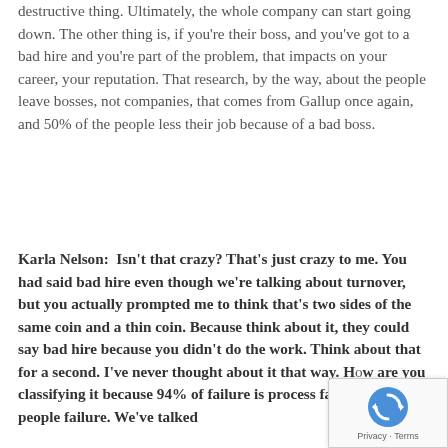destructive thing. Ultimately, the whole company can start going down. The other thing is, if you're their boss, and you've got to a bad hire and you're part of the problem, that impacts on your career, your reputation. That research, by the way, about the people leave bosses, not companies, that comes from Gallup once again, and 50% of the people less their job because of a bad boss.
Karla Nelson:  Isn't that crazy? That's just crazy to me. You had said bad hire even though we're talking about turnover, but you actually prompted me to think that's two sides of the same coin and a thin coin. Because think about it, they could say bad hire because you didn't do the work. Think about that for a second. I've never thought about it that way. How are you classifying it because 94% of failure is process failure, not people failure. We've talked
[Figure (other): reCAPTCHA widget overlay in bottom-right corner showing circular arrow icon and 'Privacy - Terms' text]